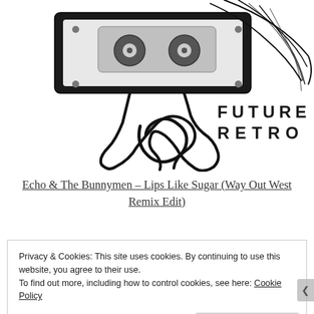[Figure (illustration): Black and white illustration of a cassette tape with tape spooled out forming swirling loops. A person's hair blows in the background. Text reads 'FUTURE RETRO' in large spaced capital letters on the right side.]
Echo & The Bunnymen – Lips Like Sugar (Way Out West Remix Edit)
Privacy & Cookies: This site uses cookies. By continuing to use this website, you agree to their use.
To find out more, including how to control cookies, see here: Cookie Policy
Close and accept